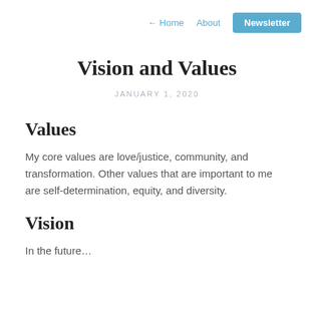← Home   About   Newsletter
Vision and Values
JANUARY 1, 2020
Values
My core values are love/justice, community, and transformation. Other values that are important to me are self-determination, equity, and diversity.
Vision
In the future…